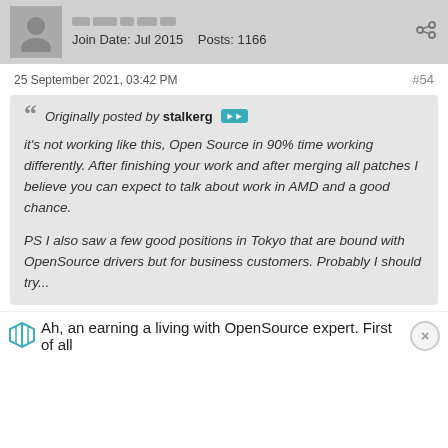Join Date: Jul 2015   Posts: 1166
25 September 2021, 03:42 PM   #54
Originally posted by stalkerg

it's not working like this, Open Source in 90% time working differently. After finishing your work and after merging all patches I believe you can expect to talk about work in AMD and a good chance.

PS I also saw a few good positions in Tokyo that are bound with OpenSource drivers but for business customers. Probably I should try...
Ah, an earning a living with OpenSource expert. First of all